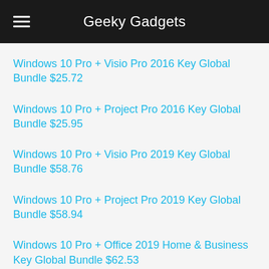Geeky Gadgets
Windows 10 Pro + Visio Pro 2016 Key Global Bundle $25.72
Windows 10 Pro + Project Pro 2016 Key Global Bundle $25.95
Windows 10 Pro + Visio Pro 2019 Key Global Bundle $58.76
Windows 10 Pro + Project Pro 2019 Key Global Bundle $58.94
Windows 10 Pro + Office 2019 Home & Business Key Global Bundle $62.53
Windows 10 Pro + Office 2016 Home & Business Key Global Bundle $82
Windows 10 Pro + Office 2016 Home & Students $40.63